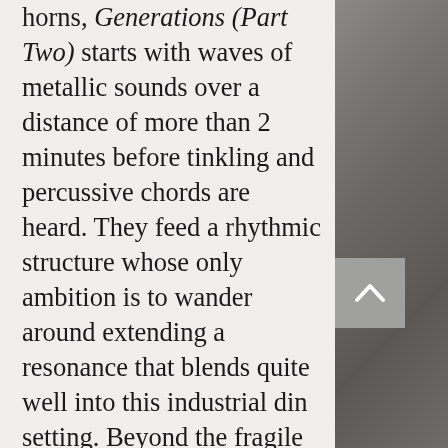horns, Generations (Part Two) starts with waves of metallic sounds over a distance of more than 2 minutes before tinkling and percussive chords are heard. They feed a rhythmic structure whose only ambition is to wander around extending a resonance that blends quite well into this industrial din setting. Beyond the fragile synth loops, organic chords appear around the 5th minute in a sound panorama dominated by these noisy synth layers and laments. The first metamorphosis of Generations (Part Two) takes place after its 6th minute. Percussions, bass-pulses and organic percussive effects settle underneath the